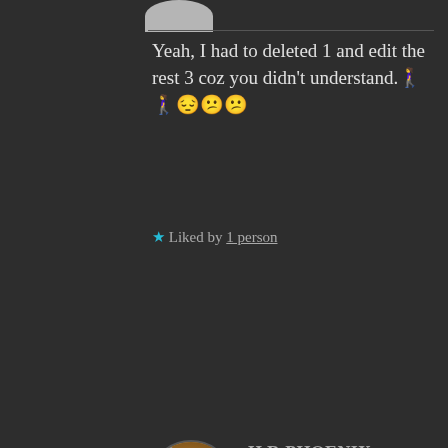[Figure (photo): Partial avatar (grey circle) at top center, cropped]
Yeah, I had to deleted 1 and edit the rest 3 coz you didn't understand. 🤦🤦😔😞😕
★ Liked by 1 person
[Figure (photo): Round avatar photo of a cat's paw being held, with small badge icon overlay]
H.R PHOENIX, AUTHOR says:
Jun 11, 2020 at 6:56 PM
😔😔😔😕
Soooorrrrrrryyyyyyyyyyyyyyyyy
Advertisements
[Figure (infographic): Advertisement banner: 'Launch your online course with WordPress — Learn More' with icon]